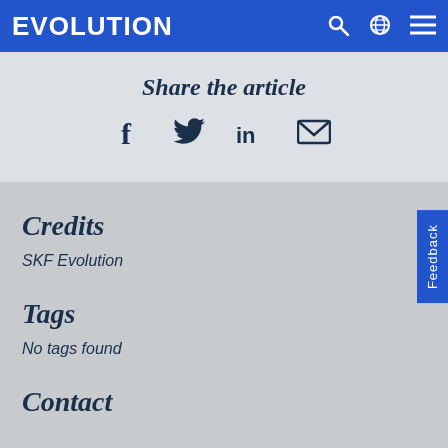EVOLUTION
Share the article
[Figure (infographic): Social share icons: Facebook, Twitter, LinkedIn, Email]
Credits
SKF Evolution
Tags
No tags found
Contact